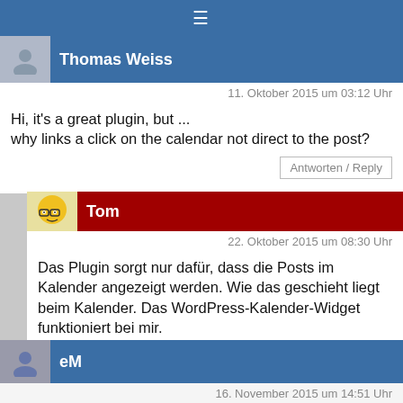≡
Thomas Weiss
11. Oktober 2015 um 03:12 Uhr
Hi, it's a great plugin, but ...
why links a click on the calendar not direct to the post?
Antworten / Reply
Tom
22. Oktober 2015 um 08:30 Uhr
Das Plugin sorgt nur dafür, dass die Posts im Kalender angezeigt werden. Wie das geschieht liegt beim Kalender. Das WordPress-Kalender-Widget funktioniert bei mir.
Antworten / Reply
eM
16. November 2015 um 14:51 Uhr
moin tom, großes dankeschön! fuktioniert wunderbar